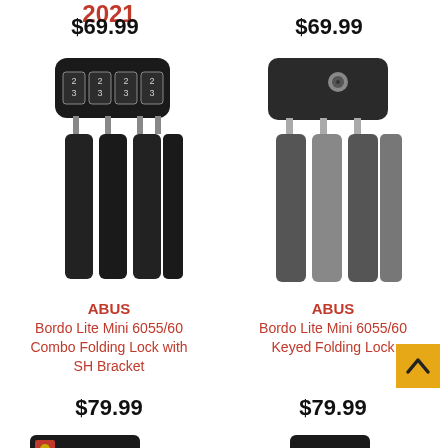2021
$69.99
$69.99
[Figure (photo): ABUS Bordo Lite Mini 6055/60 Combo Folding Lock with SH Bracket - black folding lock with combination dial showing numbers 2 and 3]
[Figure (photo): ABUS Bordo Lite Mini 6055/60 Keyed Folding Lock - black folding lock with key cylinder, showing silver/dark segments folded]
ABUS
Bordo Lite Mini 6055/60
Combo Folding Lock with
SH Bracket
ABUS
Bordo Lite Mini 6055/60
Keyed Folding Lock
$79.99
$79.99
[Figure (photo): Partial view of another ABUS lock at the bottom left]
[Figure (photo): Partial view of another ABUS lock at the bottom right]